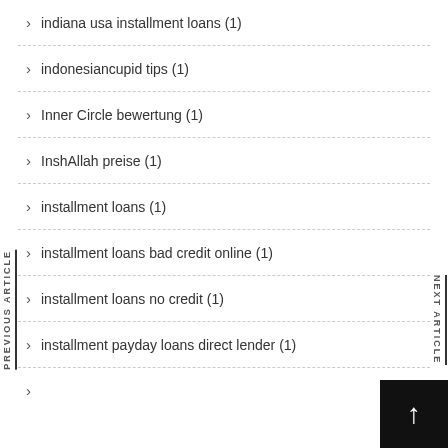indiana usa installment loans (1)
indonesiancupid tips (1)
Inner Circle bewertung (1)
InshAllah preise (1)
installment loans (1)
installment loans bad credit online (1)
installment loans no credit (1)
installment payday loans direct lender (1)